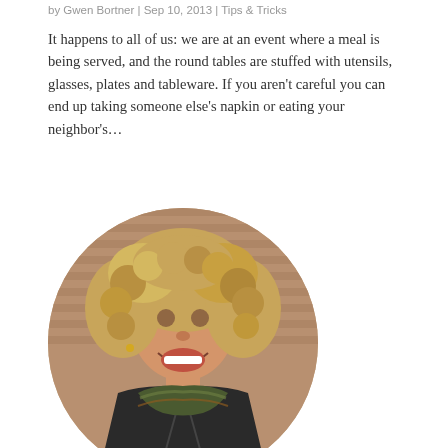by Gwen Bortner | Sep 10, 2013 | Tips & Tricks
It happens to all of us: we are at an event where a meal is being served, and the round tables are stuffed with utensils, glasses, plates and tableware. If you aren't careful you can end up taking someone else's napkin or eating your neighbor's…
[Figure (photo): Circular portrait photo of a smiling woman with curly blonde hair, wearing a black jacket and a colorful knit scarf, posed against a brick wall background.]